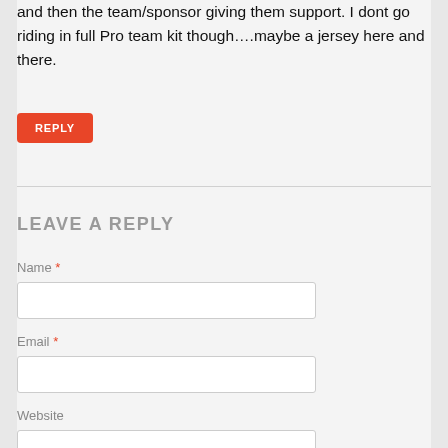and then the team/sponsor giving them support. I dont go riding in full Pro team kit though….maybe a jersey here and there.
REPLY
LEAVE A REPLY
Name *
Email *
Website